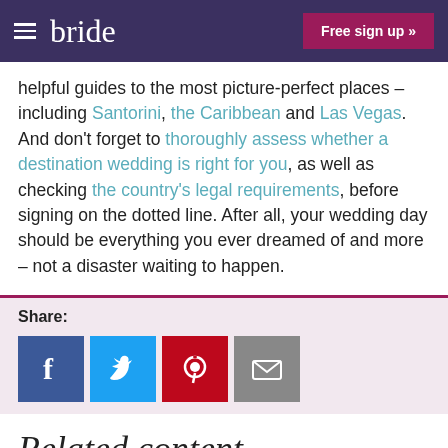bride | Free sign up »
helpful guides to the most picture-perfect places – including Santorini, the Caribbean and Las Vegas. And don't forget to thoroughly assess whether a destination wedding is right for you, as well as checking the country's legal requirements, before signing on the dotted line. After all, your wedding day should be everything you ever dreamed of and more – not a disaster waiting to happen.
Share:
[Figure (infographic): Social sharing icons: Facebook (blue), Twitter (light blue), Pinterest (red), Email (grey)]
Related content
The Wedding Industry Insider: Dresses, designers and divas
[Figure (photo): Thumbnail strip of wedding-related photos]